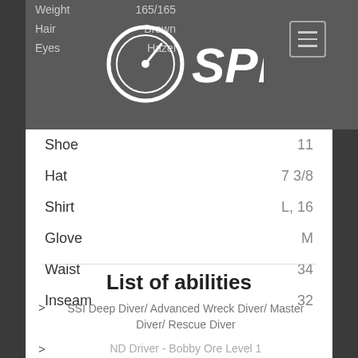| Label | Value |
| --- | --- |
| Weight | 165/165 |
| Hair | Brown |
| Eyes | Hazel |
| Shoe | 11 |
| Hat | 7 3/8 |
| Shirt | L, 16 |
| Glove | M |
| Waist | 34 |
| Inseam | 32 |
[Figure (logo): SPD speedometer logo with text 'SPD']
List of abilities
SSI Deep Diver/ Advanced Wreck Diver/ Master Diver/ Rescue Diver
ND Driver - Bobby Ore Level 1